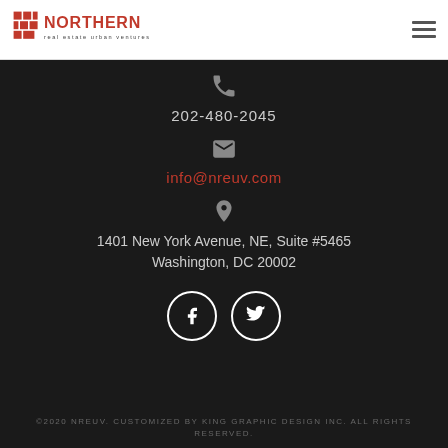NORTHERN real estate urban ventures
202-480-2045
info@nreuv.com
1401 New York Avenue, NE, Suite #5465
Washington, DC 20002
[Figure (illustration): Facebook and Twitter social media icons in white circles on dark background]
©2020 NREUV. CUSTOMIZED BY KING GRAPHIC DESIGN INC. ALL RIGHTS RESERVED.